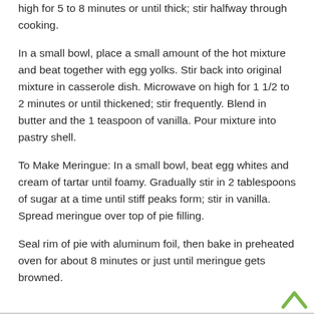high for 5 to 8 minutes or until thick; stir halfway through cooking.
In a small bowl, place a small amount of the hot mixture and beat together with egg yolks. Stir back into original mixture in casserole dish. Microwave on high for 1 1/2 to 2 minutes or until thickened; stir frequently. Blend in butter and the 1 teaspoon of vanilla. Pour mixture into pastry shell.
To Make Meringue: In a small bowl, beat egg whites and cream of tartar until foamy. Gradually stir in 2 tablespoons of sugar at a time until stiff peaks form; stir in vanilla. Spread meringue over top of pie filling.
Seal rim of pie with aluminum foil, then bake in preheated oven for about 8 minutes or just until meringue gets browned.